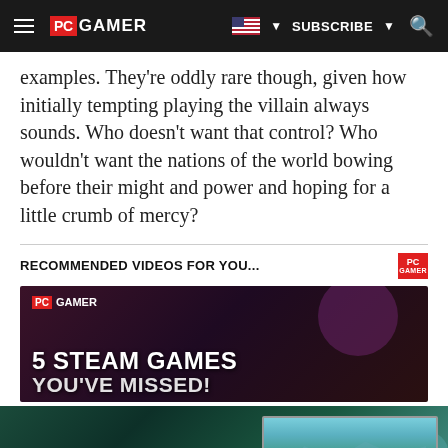PC GAMER | SUBSCRIBE
examples. They're oddly rare though, given how initially tempting playing the villain always sounds. Who doesn't want that control? Who wouldn't want the nations of the world bowing before their might and power and hoping for a little crumb of mercy?
RECOMMENDED VIDEOS FOR YOU...
[Figure (screenshot): PC Gamer video thumbnail showing '5 STEAM GAMES YOU'VE MISSED!' title on dark purple background]
[Figure (photo): Call of the Wild: theANGLER advertisement banner with outdoor fishing game imagery and 'AVAILABLE NOW ON PC' button]